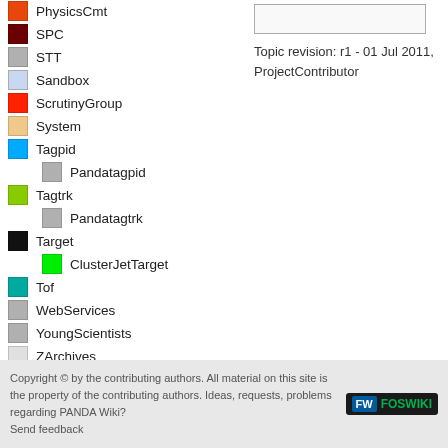PhysicsCmt
SPC
STT
Sandbox
ScrutinyGroup
System
Tagpid
Pandatagpid
Tagtrk
Pandatagtrk
Target
ClusterJetTarget
Tof
WebServices
YoungScientists
ZArchives
Topic revision: r1 - 01 Jul 2011, ProjectContributor
Copyright © by the contributing authors. All material on this site is the property of the contributing authors. Ideas, requests, problems regarding PANDA Wiki? Send feedback